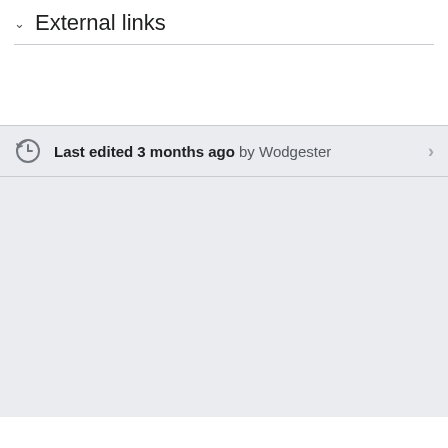External links
Last edited 3 months ago by Wodgester